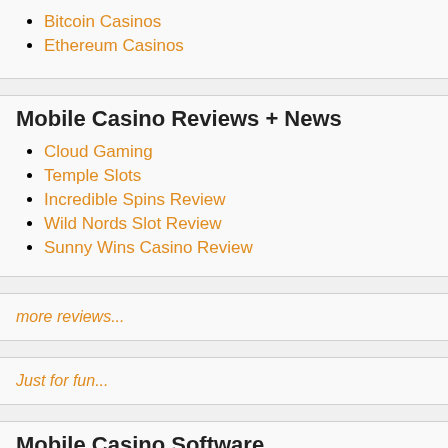Bitcoin Casinos
Ethereum Casinos
Mobile Casino Reviews + News
Cloud Gaming
Temple Slots
Incredible Spins Review
Wild Nords Slot Review
Sunny Wins Casino Review
more reviews...
Just for fun...
Mobile Casino Software